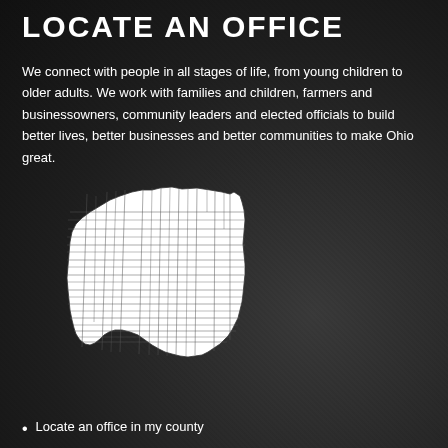LOCATE AN OFFICE
We connect with people in all stages of life, from young children to older adults. We work with families and children, farmers and businessowners, community leaders and elected officials to build better lives, better businesses and better communities to make Ohio great.
[Figure (map): White outline map of Ohio showing county boundaries on a dark background]
Locate an office in my county